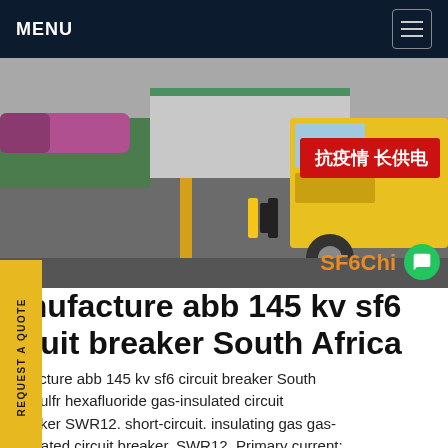MENU
[Figure (photo): A yellow truck with Chinese characters on a red banner reading '抗疫情 长供电', parked on a wet road next to greenery and industrial buildings. Watermark text 'SF6Chi' in orange at the bottom right.]
manufacture abb 145 kv sf6 circuit breaker South Africa
manufacture abb 145 kv sf6 circuit breaker South Africa,Sulfr hexafluoride gas-insulated circuit breaker SWR12. short-circuit. insulating gas gas-insulated circuit breaker. SWR12. Primary current: 400, 630, 800, 1,250 A. VAC: 12 kV. The SWR12 is an OEM design and a fit circuit breaker for both the South...